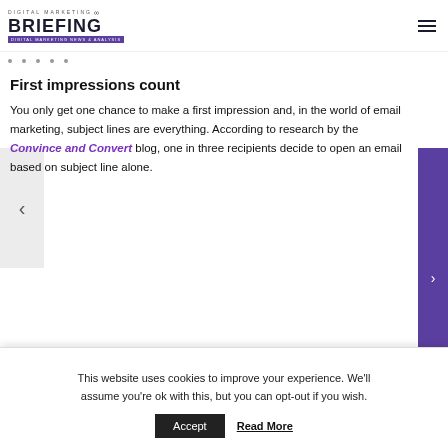Digital Marketing Briefing
First impressions count
You only get one chance to make a first impression and, in the world of email marketing, subject lines are everything. According to research by the Convince and Convert blog, one in three recipients decide to open an email based on subject line alone.
This website uses cookies to improve your experience. We'll assume you're ok with this, but you can opt-out if you wish.